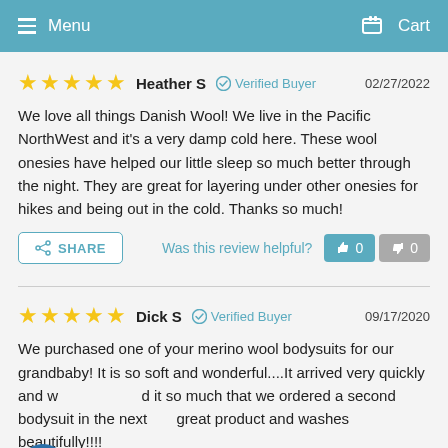Menu   Cart
★★★★★  Heather S  ✓ Verified Buyer  02/27/2022
We love all things Danish Wool! We live in the Pacific NorthWest and it's a very damp cold here. These wool onesies have helped our little sleep so much better through the night. They are great for layering under other onesies for hikes and being out in the cold. Thanks so much!
SHARE   Was this review helpful?  👍 0  👎 0
★★★★★  Dick S  ✓ Verified Buyer  09/17/2020
We purchased one of your merino wool bodysuits for our grandbaby! It is so soft and wonderful....It arrived very quickly and we loved it so much that we ordered a second bodysuit in the next ... great product and washes beautifully!!!!